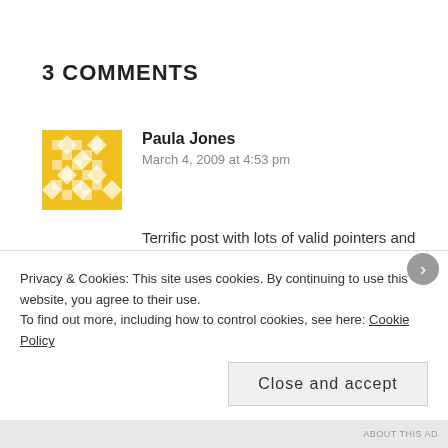3 COMMENTS
[Figure (illustration): Yellow geometric pattern avatar icon for commenter Paula Jones]
Paula Jones
March 4, 2009 at 4:53 pm
Terrific post with lots of valid pointers and advice for students. So much so, we have quoted and linked to you from our blog.

Again, excellent post and will no doubt be of great help to students.
Privacy & Cookies: This site uses cookies. By continuing to use this website, you agree to their use.
To find out more, including how to control cookies, see here: Cookie Policy
Close and accept
ABOUT THIS AD